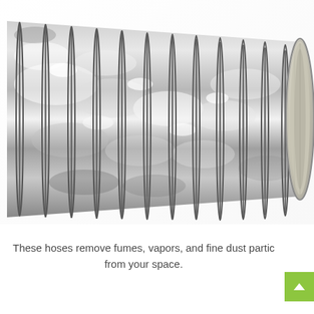[Figure (photo): A flexible aluminum spiral duct hose (flexible ventilation duct) shown diagonally, extending from upper-left to the right. The hose features a shiny metallic silver foil exterior with gray spiral wire coils. The open circular end is visible on the right side, showing a light gray/beige interior lining. The background is white.]
These hoses remove fumes, vapors, and fine dust particles from your space.